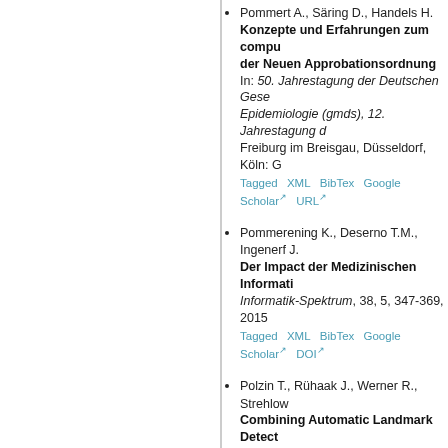Pommert A., Säring D., Handels H. Konzepte und Erfahrungen zum compu der Neuen Approbationsordnung In: 50. Jahrestagung der Deutschen Gese Epidemiologie (gmds), 12. Jahrestagung d Freiburg im Breisgau, Düsseldorf, Köln: G Tagged XML BibTex Google Scholar URL
Pommerening K., Deserno T.M., Ingenerf J. Der Impact der Medizinischen Informati Informatik-Spektrum, 38, 5, 347-369, 2015 Tagged XML BibTex Google Scholar DOI
Polzin T., Rühaak J., Werner R., Strehlow Combining Automatic Landmark Detect In: MICCAI Workshop on Pulmonary Imag Image Computing and Computer-Assisted Tagged XML BibTex Google Scholar
Polzin T., Rühaak J., Werner R., Handels H Lung Registration Using Automatically In: 58. Jahrestagung der Deutschen Gese Epidemiologie (GMDS), Lübeck, Abstractb Tagged XML BibTex Google Scholar URL
Polzin T., Rühaak J., Werner R., Handels H Lung Registration Using Automatically Methods of Information in Medicine, 53, 4, Tagged XML BibTex Google Scholar DOI
Polzin T., Niethammer N., Heinrich M.P., H Memory Efficient LDDMM for Lung CT In: 19th International Conference on Medi